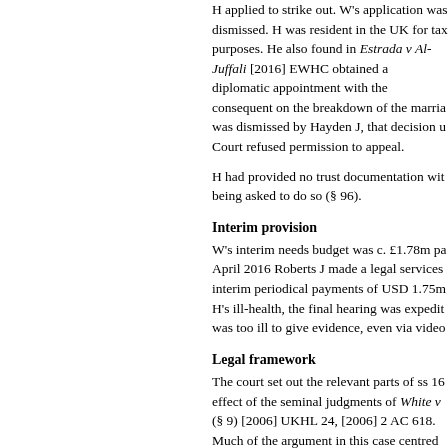H applied to strike out. W's application was dismissed. H was resident in the UK for tax purposes. He also referred to the facts found in Estrada v Al-Juffali [2016] EWHC where H had obtained a diplomatic appointment with the UN consequent on the breakdown of the marriage. W's application was dismissed by Hayden J, that decision upheld by the Court of Appeal. Court refused permission to appeal.
H had provided no trust documentation without being asked to do so (§ 96).
Interim provision
W's interim needs budget was c. £1.78m pa. In April 2016 Roberts J made a legal services order and interim periodical payments of USD 1.75m pa. Due to H's ill-health, the final hearing was expedited. H was too ill to give evidence, even via video link.
Legal framework
The court set out the relevant parts of ss 16–25 MCA and the effect of the seminal judgments of White v White (§ 9) [2006] UKHL 24, [2006] 2 AC 618. Much of the argument in this case centred on use of the marital standard of living as a reference point. The court noted the judgments of Lord Nicholls in White v White and Miller v McFarlane at § 138 and Charles J in G v G [136(iii)(a)] in that respect. The judgment in Z v Z (No 2) [2011] 594 at 91, 112 – 114 and 118 was approved. Re B (Financial Maintenance) [2014] EWHC 4183 (Fam).